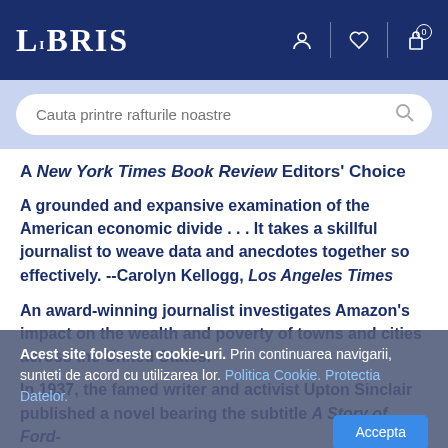LIBRIS
Cauta printre rafturile noastre
A New York Times Book Review Editors' Choice
A grounded and expansive examination of the American economic divide . . . It takes a skillful journalist to weave data and anecdotes together so effectively. --Carolyn Kellogg, Los Angeles Times
An award-winning journalist investigates Amazon's impact on the wealth and poverty of towns and cities across the United States.
In 1937, the famed writer and activist Upton Sinclair published a novel bearing the subtitle A Story of Ford-
Acest site foloseste cookie-uri. Prin continuarea navigarii, sunteti de acord cu utilizarea lor. Politica Cookie. Protectia Datelor.